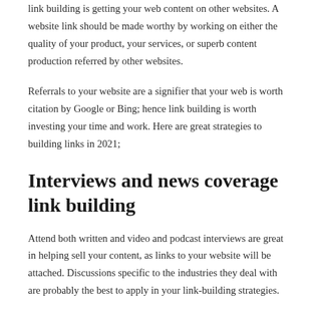link building is getting your web content on other websites. A website link should be made worthy by working on either the quality of your product, your services, or superb content production referred by other websites.
Referrals to your website are a signifier that your web is worth citation by Google or Bing; hence link building is worth investing your time and work. Here are great strategies to building links in 2021;
Interviews and news coverage link building
Attend both written and video and podcast interviews are great in helping sell your content, as links to your website will be attached. Discussions specific to the industries they deal with are probably the best to apply in your link-building strategies.